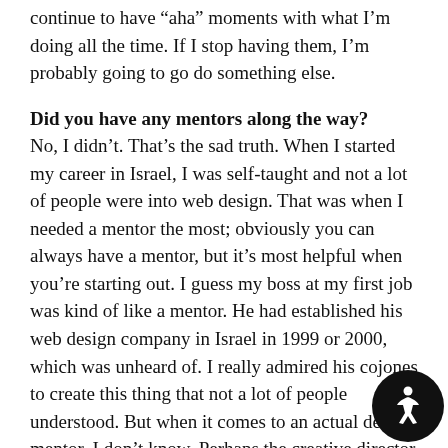continue to have “aha” moments with what I’m doing all the time. If I stop having them, I’m probably going to go do something else.
Did you have any mentors along the way?
No, I didn’t. That’s the sad truth. When I started my career in Israel, I was self-taught and not a lot of people were into web design. That was when I needed a mentor the most; obviously you can always have a mentor, but it’s most helpful when you’re starting out. I guess my boss at my first job was kind of like a mentor. He had established his web design company in Israel in 1999 or 2000, which was unheard of. I really admired his cojones to create this thing that not a lot of people understood. But when it comes to an actual design mentor, I don’t know. Perhaps the creative director at Fantasy Interactive was a mentor in the sense that he instilled pixel perfection into me. I guess I would say I’ve had role models, but not